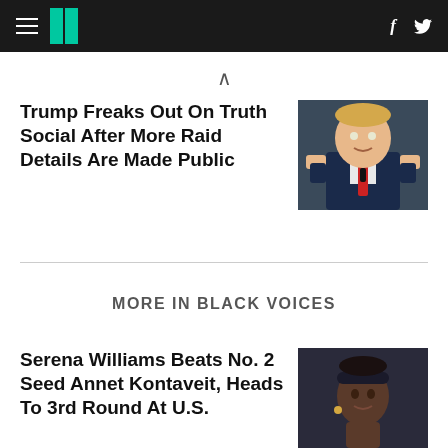HuffPost navigation header with hamburger menu, logo, Facebook and Twitter icons
^
Trump Freaks Out On Truth Social After More Raid Details Are Made Public
[Figure (photo): Photo of Donald Trump with fists raised, wearing dark suit and red tie]
MORE IN BLACK VOICES
Serena Williams Beats No. 2 Seed Annet Kontaveit, Heads To 3rd Round At U.S.
[Figure (photo): Photo of Serena Williams wearing a headband, looking sideways]